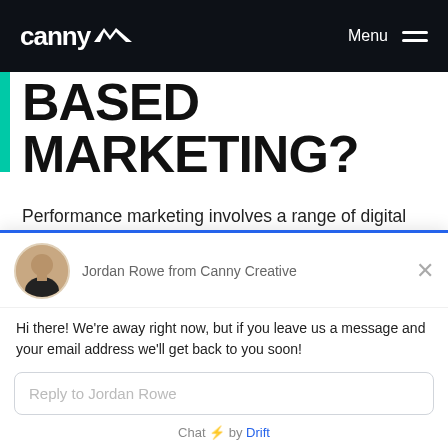canny [logo] Menu
BASED MARKETING?
Performance marketing involves a range of digital marketing channels, each designed to get your brand in front of your target audience.
[Figure (screenshot): Drift chat widget with avatar of Jordan Rowe, message 'Hi there! We're away right now, but if you leave us a message and your email address we'll get back to you soon!', and reply input field. Chat branding: 'Chat ⚡ by Drift']